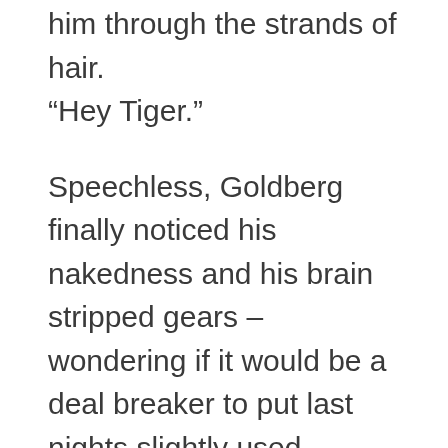him through the strands of hair. “Hey Tiger.”
Speechless, Goldberg finally noticed his nakedness and his brain stripped gears – wondering if it would be a deal breaker to put last nights slightly used underwear on in front of this beautiful creature.
Long fingers came up from under